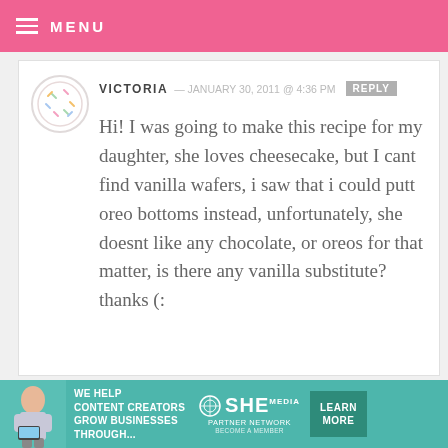MENU
VICTORIA — JANUARY 30, 2011 @ 4:36 PM [REPLY]
Hi! I was going to make this recipe for my daughter, she loves cheesecake, but I cant find vanilla wafers, i saw that i could putt oreo bottoms instead, unfortunately, she doesnt like any chocolate, or oreos for that matter, is there any vanilla substitute? thanks (:
VANESSA — JANUARY 25, 2011 @ 10:04 PM
[Figure (infographic): SHE Media partner network advertisement banner with photo of woman, text 'We help content creators grow businesses through...', SHE logo, and 'Learn More' button]